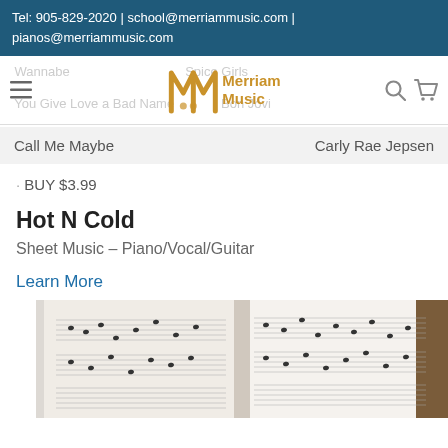Tel: 905-829-2020 | school@merriammusic.com | pianos@merriammusic.com
[Figure (logo): Merriam Music logo with stylized M in gold and text 'Merriam Music']
Call Me Maybe   Carly Rae Jepsen
BUY $3.99
Hot N Cold
Sheet Music – Piano/Vocal/Guitar
Learn More
[Figure (photo): Open sheet music book on a wooden surface showing musical notation pages]